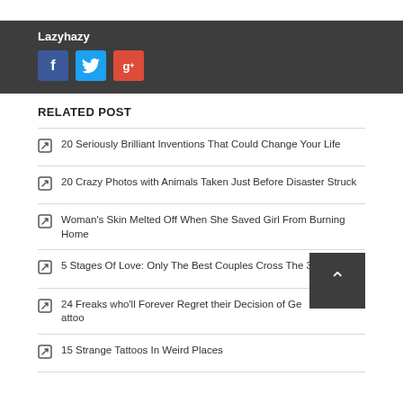Lazyhazy
[Figure (other): Social media icon buttons: Facebook (blue), Twitter (cyan), Google+ (red)]
RELATED POST
20 Seriously Brilliant Inventions That Could Change Your Life
20 Crazy Photos with Animals Taken Just Before Disaster Struck
Woman's Skin Melted Off When She Saved Girl From Burning Home
5 Stages Of Love: Only The Best Couples Cross The 3rd Stage
24 Freaks who'll Forever Regret their Decision of Getting a Tattoo
15 Strange Tattoos In Weird Places